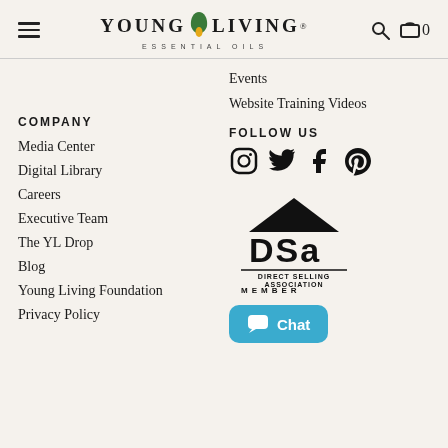Young Living Essential Oils — Navigation header with hamburger menu, logo, search icon, and cart
Events
Website Training Videos
COMPANY
FOLLOW US
Media Center
Digital Library
Careers
Executive Team
The YL Drop
Blog
Young Living Foundation
Privacy Policy
[Figure (logo): Social media icons: Instagram, Twitter, Facebook, Pinterest]
[Figure (logo): Direct Selling Association Member badge/logo]
[Figure (other): Blue Chat button with chat bubble icon]